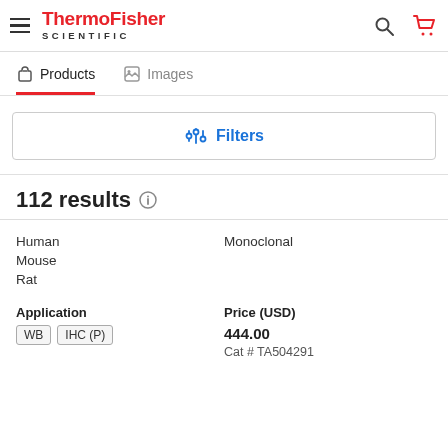[Figure (logo): ThermoFisher Scientific logo with hamburger menu, search icon, and cart icon in header]
Products
Images
Filters
112 results
Human
Mouse
Rat
Monoclonal
Application
WB  IHC (P)
Price (USD)
444.00
Cat # TA504291